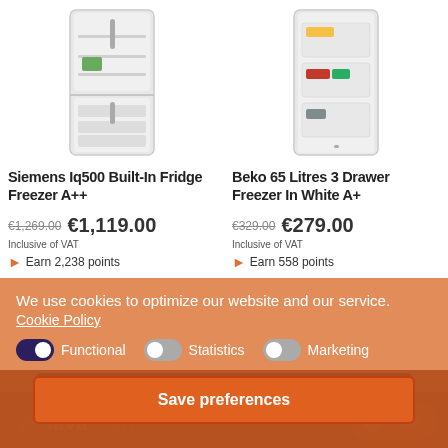[Figure (photo): Siemens Iq500 Built-In Fridge Freezer product image, white appliance with open door showing interior shelves]
Siemens Iq500 Built-In Fridge Freezer A++
€1,269.00 €1,119.00
Earn 2,238 points
[Figure (photo): Beko 65 Litres 3 Drawer Freezer in White product image, white upright freezer with open door showing drawers]
Beko 65 Litres 3 Drawer Freezer In White A+
€329.00 €279.00
Earn 558 points
We use cookies to optimize our website and our service.
Cookie Policy
Functional   Statistics   Marketing
Accept all
Save preferences
[Figure (logo): Lava.mt logo in white/orange on dark red background]
Help